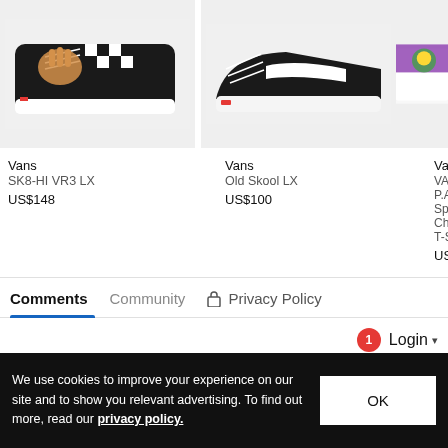[Figure (photo): Vans SK8-HI VR3 LX shoe on grey background - black and white checkered high-top with hand graphic]
Vans
SK8-HI VR3 LX
US$148
[Figure (photo): Vans Old Skool LX shoe on grey background - black sneaker with white sole and stripe]
Vans
Old Skool LX
US$100
[Figure (photo): Vans x P.A.M Spiral Checker T-SHIRT on white background - partially shown]
Vans
VANS x P.A.M Spiral Checker T-SHIRT
US$75
Comments
Community
Privacy Policy
Login
Sort by Best
Favorite
We use cookies to improve your experience on our site and to show you relevant advertising. To find out more, read our privacy policy.